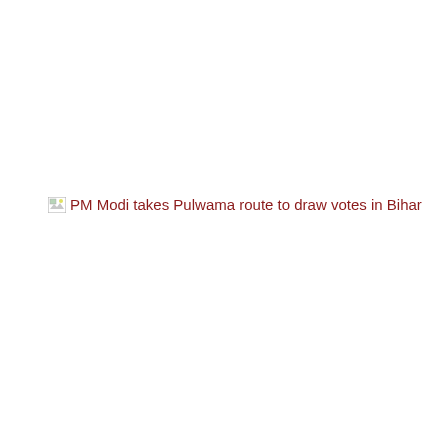[Figure (other): Broken image icon followed by red hyperlink text: PM Modi takes Pulwama route to draw votes in Bihar]